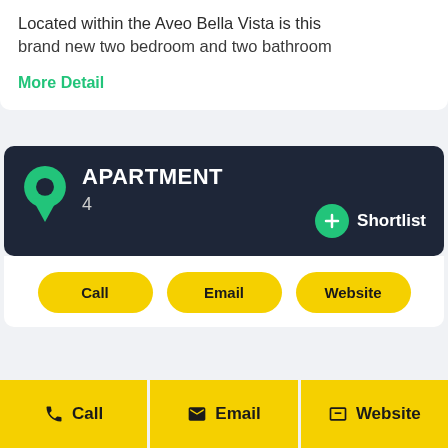Located within the Aveo Bella Vista is this brand new two bedroom and two bathroom
More Detail
APARTMENT 4
+ Shortlist
Call
Email
Website
Call
Email
Website